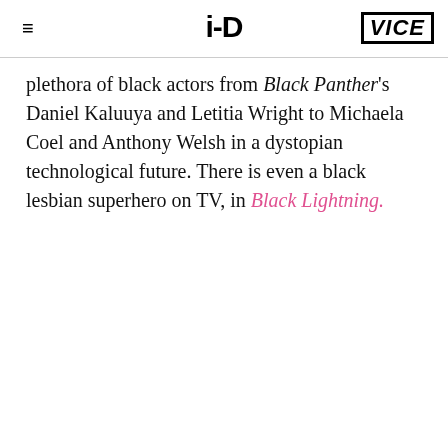≡  i-D  VICE
plethora of black actors from Black Panther's Daniel Kaluuya and Letitia Wright to Michaela Coel and Anthony Welsh in a dystopian technological future. There is even a black lesbian superhero on TV, in Black Lightning.